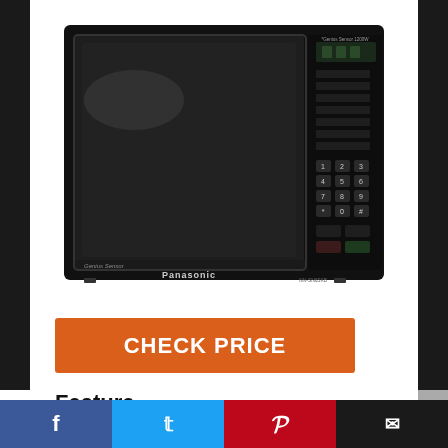[Figure (photo): A black Panasonic countertop microwave oven with control panel on the right side, featuring keypad buttons and display. The Genius Sensor label is visible on the lower left of the microwave.]
CHECK PRICE
Feature
Microwave cooking made easy – space-saving, 1. 2 Cu. Ft. 1200W